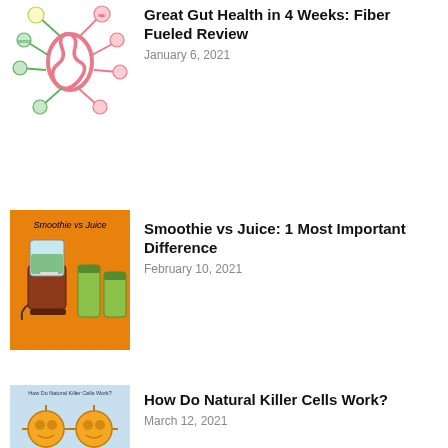[Figure (illustration): Mind map of gut bacteria showing good and bad bacteria connected to a pink digestive tract illustration]
Great Gut Health in 4 Weeks: Fiber Fueled Review
January 6, 2021
[Figure (illustration): Orange background illustration showing a blender labeled 'Smoothie vs Juice' with a blender on the left and green juice cans on the right]
Smoothie vs Juice: 1 Most Important Difference
February 10, 2021
[Figure (illustration): Light blue background with cartoon natural killer cells illustration, text reading 'How Do Natural Killer Cells Work?']
How Do Natural Killer Cells Work?
March 12, 2021